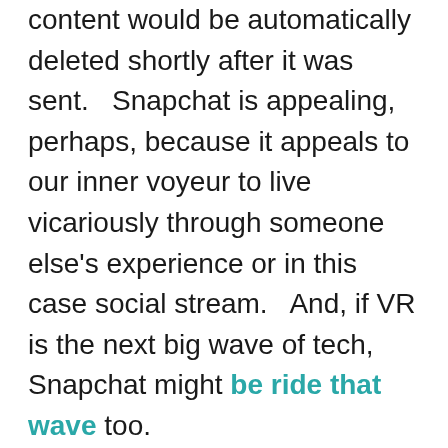content would be automatically deleted shortly after it was sent.   Snapchat is appealing, perhaps, because it appeals to our inner voyeur to live vicariously through someone else's experience or in this case social stream.   And, if VR is the next big wave of tech, Snapchat might be ride that wave too.
I started to pay attention when my kids became teenagers — and wanting to practice good digital parenting as  Alexandra Samuel advises – I added the SnapChat app to my phone.  My first